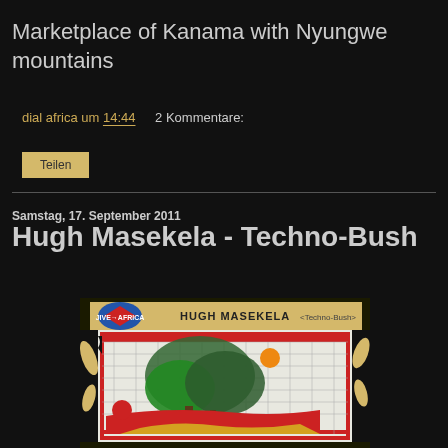Marketplace of Kanama with Nyungwe mountains
dial africa um 14:44   2 Kommentare:
Teilen
Samstag, 17. September 2011
Hugh Masekela - Techno-Bush
[Figure (photo): Album cover of Hugh Masekela Techno-Bush showing colorful artwork with trees, red shapes, and decorative elements on black background with yellow/tan banner at top reading HUGH MASEKELA <Techno-Bush>]